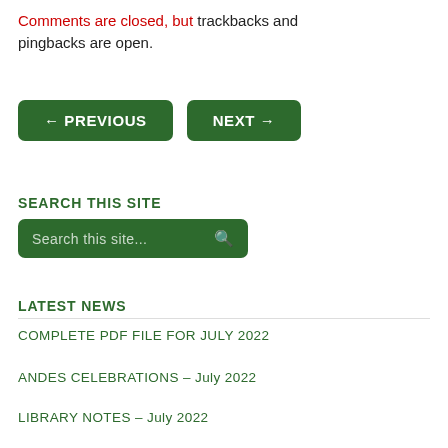Comments are closed, but trackbacks and pingbacks are open.
[Figure (other): Navigation buttons: ← PREVIOUS and NEXT →]
SEARCH THIS SITE
[Figure (other): Search box with placeholder text 'Search this site...' and search icon]
LATEST NEWS
COMPLETE PDF FILE FOR JULY 2022
ANDES CELEBRATIONS – July 2022
LIBRARY NOTES – July 2022